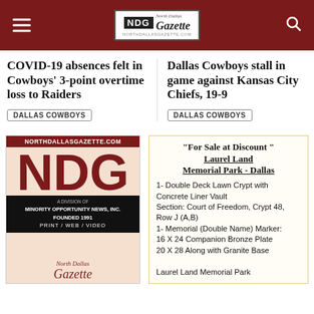North Dallas Gazette
COVID-19 absences felt in Cowboys' 3-point overtime loss to Raiders
DALLAS COWBOYS
Dallas Cowboys stall in game against Kansas City Chiefs, 19-9
DALLAS COWBOYS
[Figure (logo): NDG North Dallas Gazette advertisement logo: large NDG letters in dark red, 'A Division of Minority Opportunity News, Inc. Founded 1991. Print / Web / Video', North Dallas Gazette script at bottom]
"For Sale at Discount" Laurel Land Memorial Park - Dallas
1- Double Deck Lawn Crypt with Concrete Liner Vault
Section: Court of Freedom, Crypt 48, Row J (A,B)
1- Memorial (Double Name) Marker:
16 X 24 Companion Bronze Plate
20 X 28 Along with Granite Base
Laurel Land Memorial Park